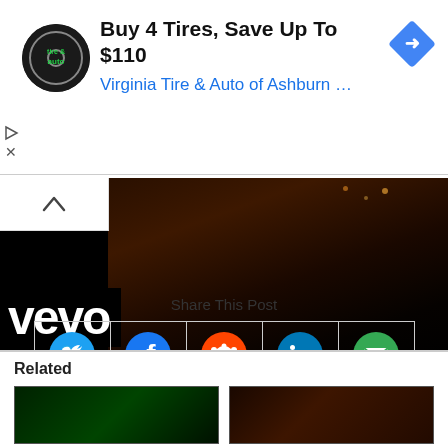[Figure (infographic): Advertisement banner: Virginia Tire & Auto logo (circular black badge), headline 'Buy 4 Tires, Save Up To $110', subline 'Virginia Tire & Auto of Ashburn ...', blue diamond navigation icon on right]
[Figure (screenshot): Vevo music video thumbnail showing dark nighttime scene with 'vevo' logo in white bold text on lower left, collapse/chevron-up button in upper left corner]
Share This Post
[Figure (infographic): Row of 5 social share icon buttons: Twitter (blue bird), Facebook (blue f), Reddit (red alien), LinkedIn (blue in), Email (green envelope) - each in a bordered cell]
Related
[Figure (photo): Two related article thumbnail images side by side - left is dark green toned, right is dark orange/warm toned]